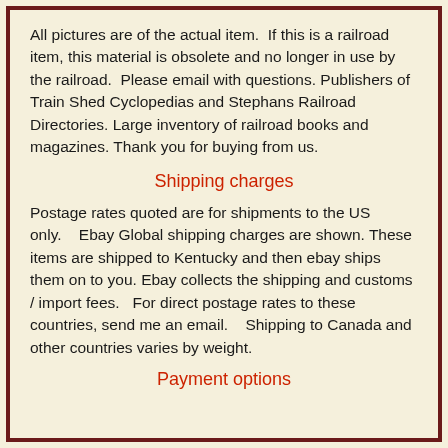All pictures are of the actual item.  If this is a railroad item, this material is obsolete and no longer in use by the railroad.  Please email with questions. Publishers of Train Shed Cyclopedias and Stephans Railroad Directories. Large inventory of railroad books and magazines. Thank you for buying from us.
Shipping charges
Postage rates quoted are for shipments to the US only.   Ebay Global shipping charges are shown. These items are shipped to Kentucky and then ebay ships them on to you. Ebay collects the shipping and customs / import fees.   For direct postage rates to these countries, send me an email.   Shipping to Canada and other countries varies by weight.
Payment options